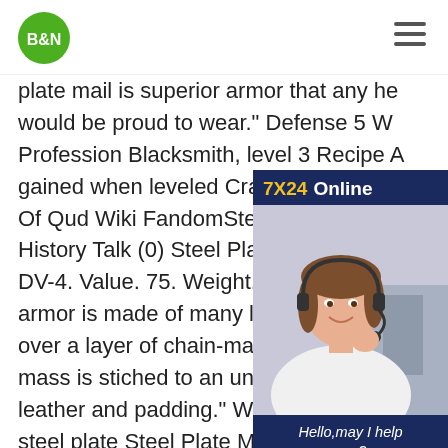B&N
[Figure (other): Advertisement panel with headset woman photo, '7X24 Online' header, 'Hello,may I help you?' text, and 'Get Latest Price' button]
plate mail is superior armor that any hero would be proud to wear." Defense 5 W... Profession Blacksmith, level 3 Recipe A... gained when leveled Crafting Steel Pla... Of Qud Wiki FandomSteel Plate Mail B... History Talk (0) Steel Plate Mail . Base... DV-4. Value. 75. Weight. 60. Slot. Body... armor is made of many large plates of ... over a layer of chain-mail . The whole mass is stiched to an under-garment of leather and padding." Worn On Body mail steel plate Steel Plate Mail Body RuneScape Classic Wiki FandomA Steel Plate Mail Body is a plate mail body which can be worn by